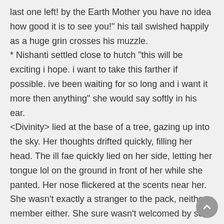last one left! by the Earth Mother you have no idea how good it is to see you!" his tail swished happily as a huge grin crosses his muzzle.
* Nishanti settled close to hutch "this will be exciting i hope. i want to take this farther if possible. ive been waiting for so long and i want it more then anything" she would say softly in his ear.
<Divinity> lied at the base of a tree, gazing up into the sky. Her thoughts drifted quickly, filling her head. The ill fae quickly lied on her side, letting her tongue lol on the ground in front of her while she panted. Her nose flickered at the scents near her. She wasn't exactly a stranger to the pack, neither a member either. She sure wasn't welcomed by so <Divinity> me, others remained more antsy.
* Faolan slowly made his way to his mate's side and there took a moment to nose lightly at her scruff before venturing a cast of his hugs to those